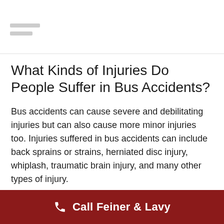What Kinds of Injuries Do People Suffer in Bus Accidents?
Bus accidents can cause severe and debilitating injuries but can also cause more minor injuries too. Injuries suffered in bus accidents can include back sprains or strains, herniated disc injury, whiplash, traumatic brain injury, and many other types of injury.
Some injuries sustained in bus accidents can be long-term and permanent. If your injuries fall into this category, your bus accident attorney Bronx NY will help you recover costs for your medical...
Call Feiner & Lavy